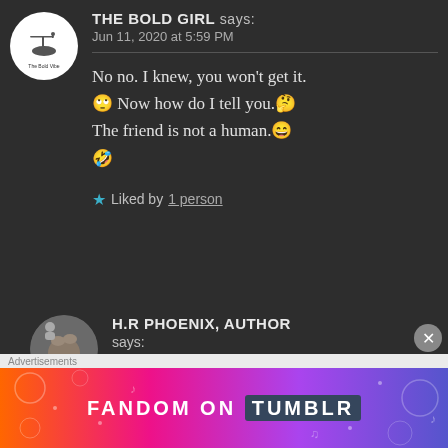THE BOLD GIRL says: Jun 11, 2020 at 5:59 PM
No no. I knew, you won't get it. 🙄 Now how do I tell you.🤔 The friend is not a human.😄 🤣
★ Liked by 1 person
H.R PHOENIX, AUTHOR says: Jun 11, 2020 at 6:22 PM
Advertisements
[Figure (illustration): Fandom on Tumblr colorful advertisement banner with gradient background from orange to purple]